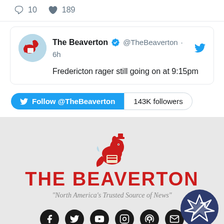[Figure (screenshot): Twitter action bar showing comment icon with 10, heart icon with 189]
[Figure (screenshot): The Beaverton tweet card: account name 'The Beaverton', handle '@TheBeaverton', time '6h', text 'Fredericton rager still going on at 9:15pm', with Twitter bird icon and follow button showing 143K followers]
[Figure (logo): The Beaverton logo with red beaver mascot and THE BEAVERTON text, tagline 'North America's Trusted Source of News', social media icons row, and a circular badge in bottom right corner]